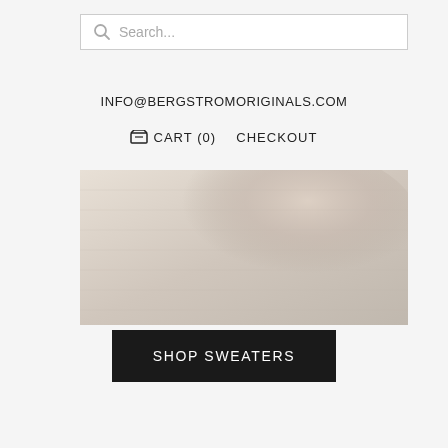Search...
INFO@BERGSTROMORIGINALS.COM
CART (0)   CHECKOUT
[Figure (photo): Close-up photo of a light-colored knit sweater or textile fabric in warm beige/cream tones]
SHOP SWEATERS